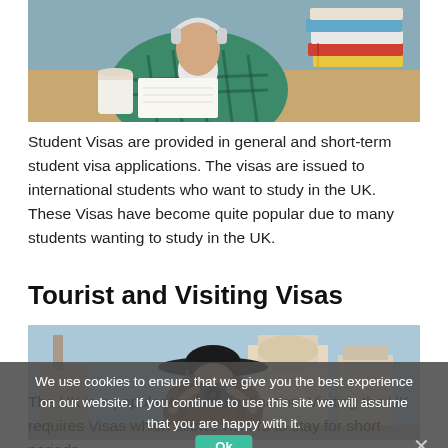[Figure (photo): Student sitting at desk writing, with stack of books beside them, wearing green plaid shirt with headphones]
Student Visas are provided in general and short-term student visa applications. The visas are issued to international students who want to study in the UK. These Visas have become quite popular due to many students wanting to study in the UK.
Tourist and Visiting Visas
[Figure (photo): Tourist taking photo with camera in front of European-style buildings, wearing a wide-brimmed hat]
We use cookies to ensure that we give you the best experience on our website. If you continue to use this site we will assume that you are happy with it.
The UK is a popular tourism destination. Visiting the UK requires Visas which allows visitors to stay for short periods